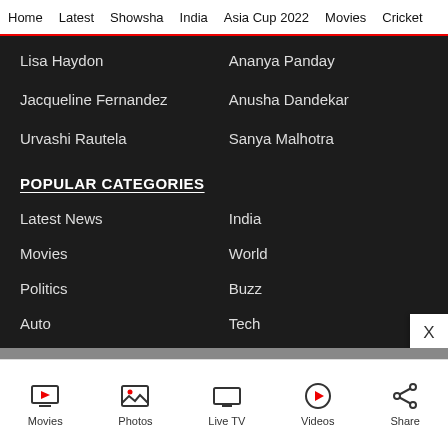Home | Latest | Showsha | India | Asia Cup 2022 | Movies | Cricket
Lisa Haydon
Ananya Panday
Jacqueline Fernandez
Anusha Dandekar
Urvashi Rautela
Sanya Malhotra
POPULAR CATEGORIES
Latest News
India
Movies
World
Politics
Buzz
Auto
Tech
Videos
Photos
Movies | Photos | Live TV | Videos | Share